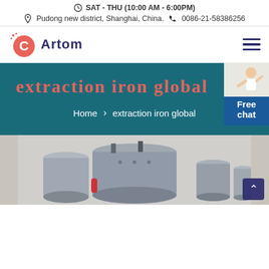SAT - THU (10:00 AM - 6:00PM)
Pudong new district, Shanghai, China.  0086-21-58386256
[Figure (logo): Artom company logo with orange circular C icon and dark blue Artom text]
extraction iron global
Home > extraction iron global
[Figure (photo): Industrial machinery photo showing large metallic cylindrical containers and equipment in a factory setting]